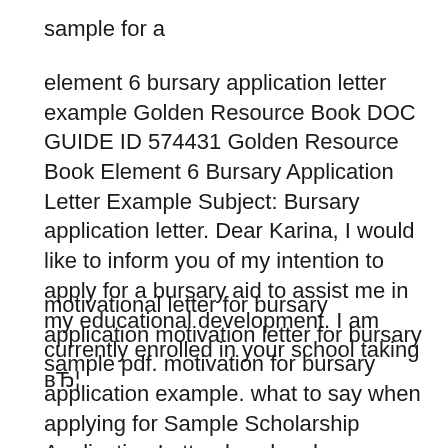sample for a
element 6 bursary application letter example Golden Resource Book DOC GUIDE ID 574431 Golden Resource Book Element 6 Bursary Application Letter Example Subject: Bursary application letter. Dear Karina, I would like to inform you of my intention to apply for a bursary aid to assist me in my educational development. I am currently enrolled in your school taking вЂ¦
motivational letter for bursary application motivation letter for bursary sample pdf. motivation for bursary application example. what to say when applying for Sample Scholarship Application Letter. law.du.edu.